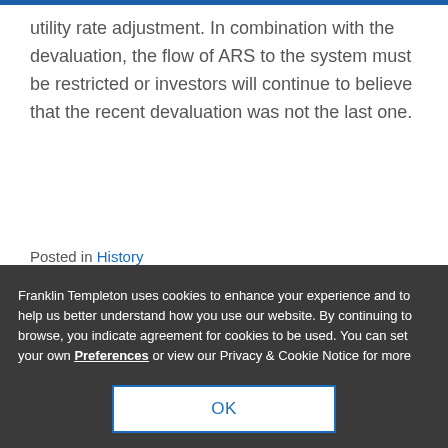utility rate adjustment. In combination with the devaluation, the flow of ARS to the system must be restricted or investors will continue to believe that the recent devaluation was not the last one.
Posted in History
Tagged argentina currency devaluation 2014, china equity
Franklin Templeton uses cookies to enhance your experience and to help us better understand how you use our website. By continuing to browse, you indicate agreement for cookies to be used. You can set your own Preferences or view our Privacy & Cookie Notice for more information. Privacy & Cookie Notices